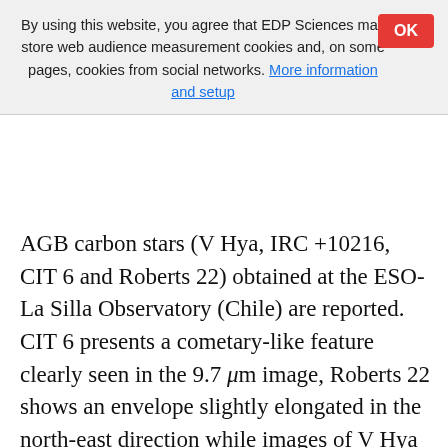By using this website, you agree that EDP Sciences may store web audience measurement cookies and, on some pages, cookies from social networks. More information and setup
AGB carbon stars (V Hya, IRC +10216, CIT 6 and Roberts 22) obtained at the ESO-La Silla Observatory (Chile) are reported. CIT 6 presents a cometary-like feature clearly seen in the 9.7 μm image, Roberts 22 shows an envelope slightly elongated in the north-east direction while images of V Hya and IRC +10216 are roughly spherically symmetric. Using an inversion technique, the dust emissivity was derived from the observed intensity profiles, allowing a determination of the grain temperature and density distributions inside the envelope for these stars. Dust masses and mass-loss rates were estimated for V Hya and IRC +10216. Our results are comparable to those obtained in previous studies if dust grains have dimensions in the range